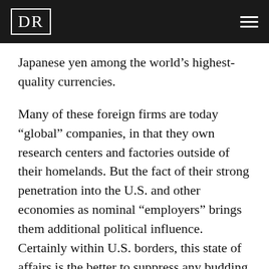DR
Japanese yen among the world’s highest-quality currencies.
Many of these foreign firms are today “global” companies, in that they own research centers and factories outside of their homelands. But the fact of their strong penetration into the U.S. and other economies as nominal “employers” brings them additional political influence. Certainly within U.S. borders, this state of affairs is the better to suppress any budding domestic competition. In its own way, the globalization phenomenon has the potential to be an economic Trojan horse.
Related to this, it is clear that the so-called “high